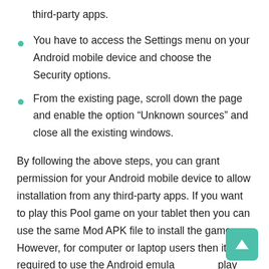third-party apps.
You have to access the Settings menu on your Android mobile device and choose the Security options.
From the existing page, scroll down the page and enable the option “Unknown sources” and close all the existing windows.
By following the above steps, you can grant permission for your Android mobile device to allow installation from any third-party apps. If you want to play this Pool game on your tablet then you can use the same Mod APK file to install the game. However, for computer or laptop users then it is required to use the Android emula play the 8 Ball Pool Mod game. You can also use